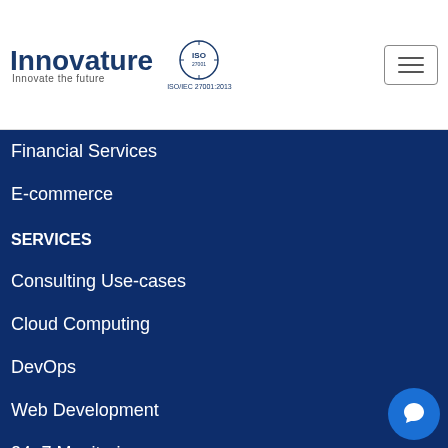[Figure (logo): Innovature logo with tagline 'Innovate the future' and ISO/IEC 27001:2013 certification badge]
Financial Services
E-commerce
SERVICES
Consulting Use-cases
Cloud Computing
DevOps
Web Development
24×7 Monitoring
Big Data Analytics
Mobile App Development
Artificial Intelligence